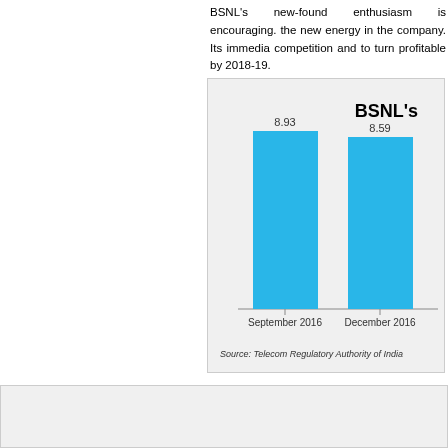BSNL's new-found enthusiasm is encouraging. the new energy in the company. Its immedia competition and to turn profitable by 2018-19.
[Figure (bar-chart): BSNL's]
Source: Telecom Regulatory Authority of India